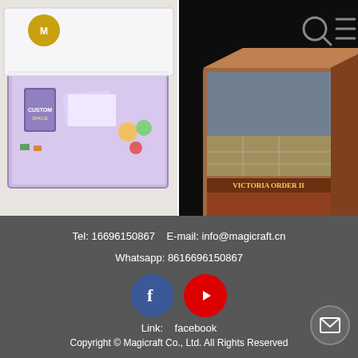[Figure (photo): Board game box open showing colorful game pieces, cards, and components on white background]
Board Game Printing Manufacturer For Adult Couple…
[Figure (screenshot): Dark background showing board game box 'Victoria Order' with search and menu icons top right]
professional manufacturer of custom board game products
Tel: 16696150867    E-mail: info@magicraft.cn
Whatsapp: 8616696150867
[Figure (logo): Facebook blue circle icon and YouTube red circle icon]
Link:    facebook
Copyright © Magicraft Co., Ltd. All Rights Reserved